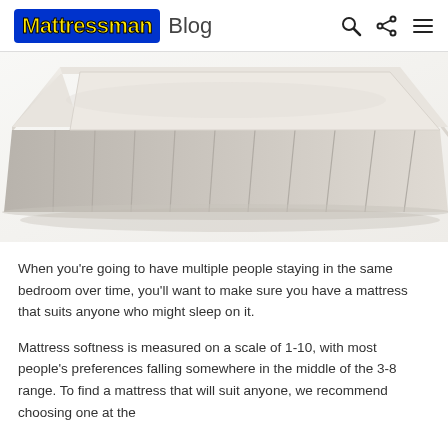Mattressman Blog
[Figure (photo): Close-up photo of a white/cream quilted mattress corner showing padded tufted fabric and side panel ribbing against a white background]
When you're going to have multiple people staying in the same bedroom over time, you'll want to make sure you have a mattress that suits anyone who might sleep on it.
Mattress softness is measured on a scale of 1-10, with most people's preferences falling somewhere in the middle of the 3-8 range. To find a mattress that will suit anyone, we recommend choosing one at the